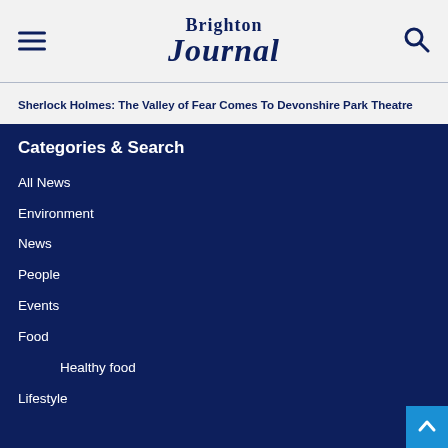Brighton Journal
Sherlock Holmes: The Valley of Fear Comes To Devonshire Park Theatre
Categories & Search
All News
Environment
News
People
Events
Food
Healthy food
Lifestyle